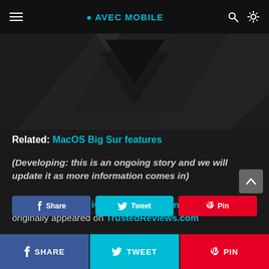≡ AVEC MOBILE
[Figure (screenshot): Partial dark background with triangular graphic shapes visible at top, Apple-style logo or graphic cutout on dark background]
Related: MacOS Big Sur features
(Developing: this is an ongoing story and we will update it as more information comes in)
How to download iOS 14 right now on your iPhone originally appeared on TrustedReviews.com
Share | Tweet | Pin (social buttons)